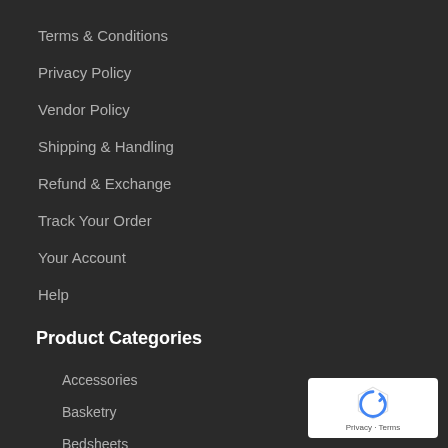Terms & Conditions
Privacy Policy
Vendor Policy
Shipping & Handling
Refund & Exchange
Track Your Order
Your Account
Help
Product Categories
Accessories
Basketry
Bedsheets
Block Print & Ajrak
Crochet